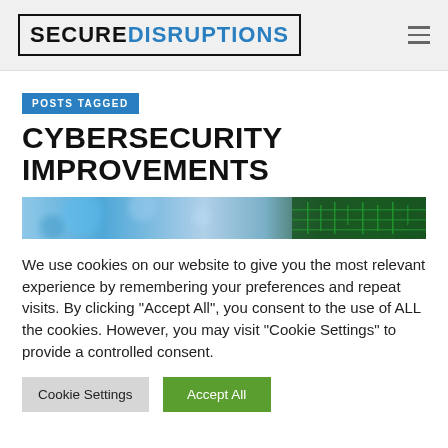SECUREDISRUPTIONS
POSTS TAGGED
CYBERSECURITY IMPROVEMENTS
[Figure (photo): Blurred technology background image showing blue lights and circuit board elements]
We use cookies on our website to give you the most relevant experience by remembering your preferences and repeat visits. By clicking "Accept All", you consent to the use of ALL the cookies. However, you may visit "Cookie Settings" to provide a controlled consent.
Cookie Settings | Accept All